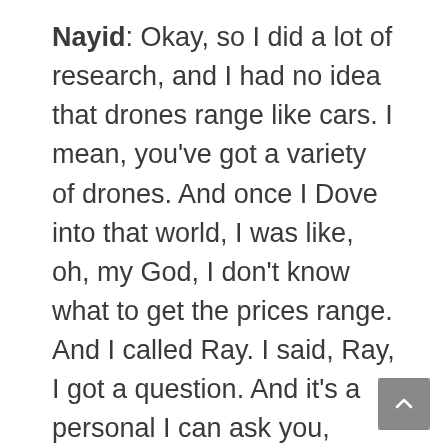Nayid: Okay, so I did a lot of research, and I had no idea that drones range like cars. I mean, you've got a variety of drones. And once I Dove into that world, I was like, oh, my God, I don't know what to get the prices range. And I called Ray. I said, Ray, I got a question. And it's a personal I can ask you, which drone do you have? He goes, I've got the Mavic Air 2 or the Pro as well. And he's like, what do you recommend, Ray? Because I'm a novice, and it's literally I'm a novice. He's like, man, I think this is the best drone. It's a good price. It's not your upper tier. It's not your bottom tier. It's a medium tier drone. And he goes...